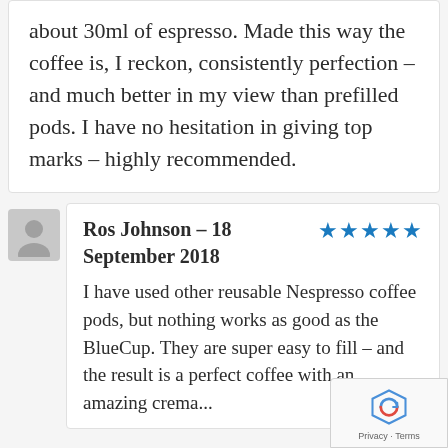about 30ml of espresso. Made this way the coffee is, I reckon, consistently perfection – and much better in my view than prefilled pods. I have no hesitation in giving top marks – highly recommended.
Ros Johnson – 18 September 2018
I have used other reusable Nespresso coffee pods, but nothing works as good as the BlueCup. They are super easy to fill – and the result is a perfect coffee with an amazing crema...